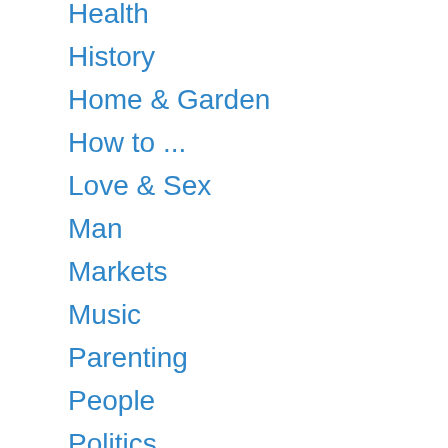Health
History
Home & Garden
How to ...
Love & Sex
Man
Markets
Music
Parenting
People
Politics
Sport
Style
Technology